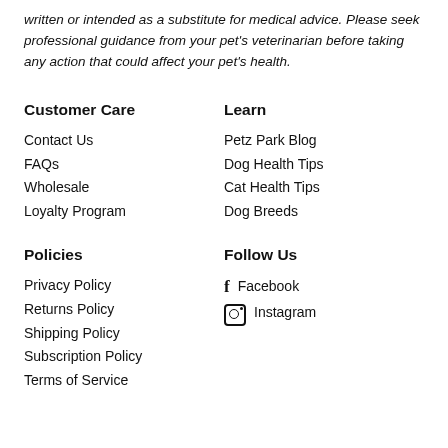written or intended as a substitute for medical advice. Please seek professional guidance from your pet's veterinarian before taking any action that could affect your pet's health.
Customer Care
Contact Us
FAQs
Wholesale
Loyalty Program
Learn
Petz Park Blog
Dog Health Tips
Cat Health Tips
Dog Breeds
Policies
Privacy Policy
Returns Policy
Shipping Policy
Subscription Policy
Terms of Service
Follow Us
Facebook
Instagram